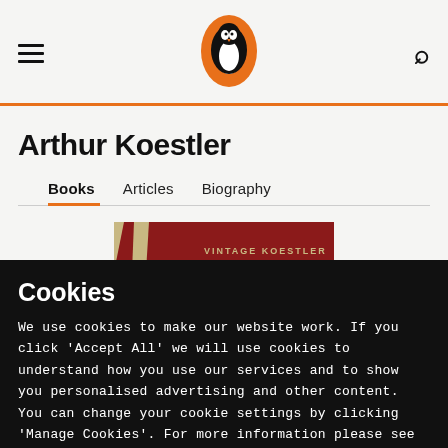[Figure (logo): Penguin Books logo — orange oval with white penguin silhouette]
Arthur Koestler
Books   Articles   Biography
[Figure (photo): Partial view of a book cover with red and cream diagonal stripe design, text reads VINTAGE KOESTLER]
Cookies
We use cookies to make our website work. If you click 'Accept All' we will use cookies to understand how you use our services and to show you personalised advertising and other content. You can change your cookie settings by clicking 'Manage Cookies'. For more information please see our cookie policy